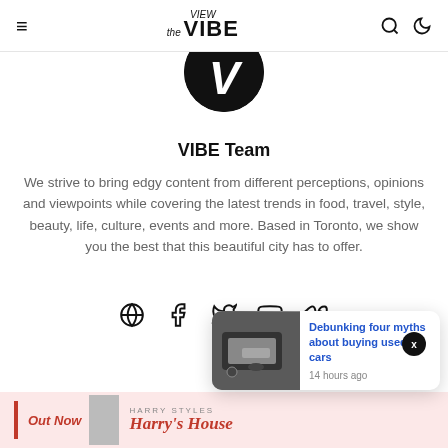VIEW the VIBE
[Figure (logo): Circular black avatar with white V letter for VIBE Team profile]
VIBE Team
We strive to bring edgy content from different perceptions, opinions and viewpoints while covering the latest trends in food, travel, style, beauty, life, culture, events and more. Based in Toronto, we show you the best that this beautiful city has to offer.
[Figure (infographic): Social media icons: globe, Facebook, Twitter, YouTube, Vimeo]
[Figure (screenshot): Popup card: car interior image with headline Debunking four myths about buying used cars, 14 hours ago]
[Figure (illustration): Bottom banner: Out Now, Harry Styles Harry's House album promotion in red on pink background]